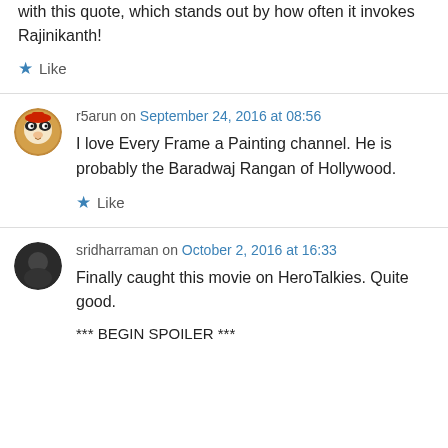with this quote, which stands out by how often it invokes Rajinikanth!
Like
r5arun on September 24, 2016 at 08:56
I love Every Frame a Painting channel. He is probably the Baradwaj Rangan of Hollywood.
Like
sridharraman on October 2, 2016 at 16:33
Finally caught this movie on HeroTalkies. Quite good.
*** BEGIN SPOILER ***